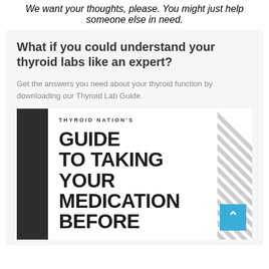We want your thoughts, please. You might just help someone else in need.
What if you could understand your thyroid labs like an expert?
Get the answers you need about your thyroid function by downloading our Thyroid Lab Guide.
[Figure (illustration): Book cover for Thyroid Nation's Guide to Taking Your Medication Before, shown as a book with dark left spine bar, diagonal stripe pattern on the right, and a blue scroll-to-top button.]